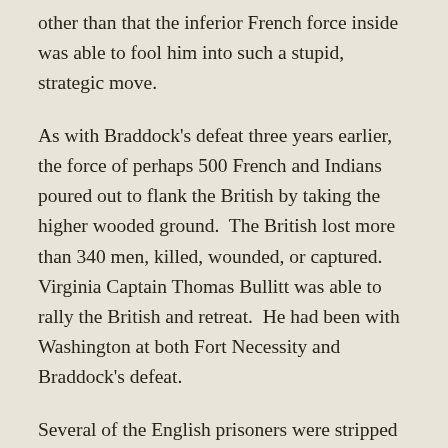other than that the inferior French force inside was able to fool him into such a stupid, strategic move.
As with Braddock's defeat three years earlier, the force of perhaps 500 French and Indians poured out to flank the British by taking the higher wooded ground.  The British lost more than 340 men, killed, wounded, or captured.  Virginia Captain Thomas Bullitt was able to rally the British and retreat.  He had been with Washington at both Fort Necessity and Braddock's defeat.
Several of the English prisoners were stripped naked, painted black, and that night tortured to death, their screams heard throughout the darkness, screeching for help across the river.  Their heads were then impaled on stakes at the stockade, their kilts displayed.  The French